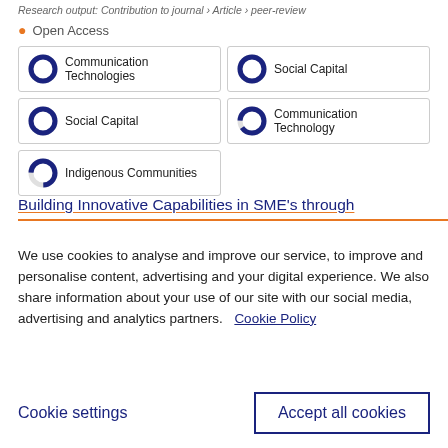Research output: Contribution to journal › Article › peer-review
Open Access
Communication Technologies
Social Capital
Social Capital
Communication Technology
Indigenous Communities
Building Innovative Capabilities in SME's through
We use cookies to analyse and improve our service, to improve and personalise content, advertising and your digital experience. We also share information about your use of our site with our social media, advertising and analytics partners.  Cookie Policy
Cookie settings
Accept all cookies